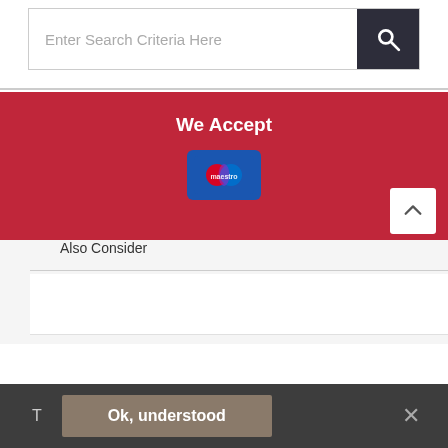[Figure (screenshot): Search bar with placeholder text 'Enter Search Criteria Here' and a dark search button with magnifying glass icon]
guaranteed and quality assured.
Product Details
Also Consider
We Accept
[Figure (logo): Maestro payment card logo on blue background]
T  Ok, understood  ×